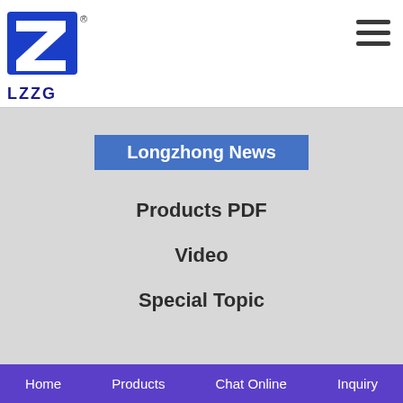[Figure (logo): LZZG company logo: blue stylized Z letter mark with registered trademark symbol, text LZZG below]
[Figure (other): Hamburger menu icon with three horizontal dark bars]
Longzhong News
Products PDF
Video
Special Topic
Home    Products    Chat Online    Inquiry